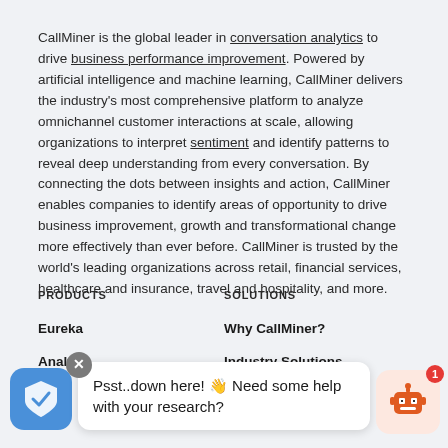CallMiner is the global leader in conversation analytics to drive business performance improvement. Powered by artificial intelligence and machine learning, CallMiner delivers the industry's most comprehensive platform to analyze omnichannel customer interactions at scale, allowing organizations to interpret sentiment and identify patterns to reveal deep understanding from every conversation. By connecting the dots between insights and action, CallMiner enables companies to identify areas of opportunity to drive business improvement, growth and transformational change more effectively than ever before. CallMiner is trusted by the world's leading organizations across retail, financial services, healthcare and insurance, travel and hospitality, and more.
PRODUCTS
SOLUTIONS
Eureka
Why CallMiner?
Analyze
Industry Solutions